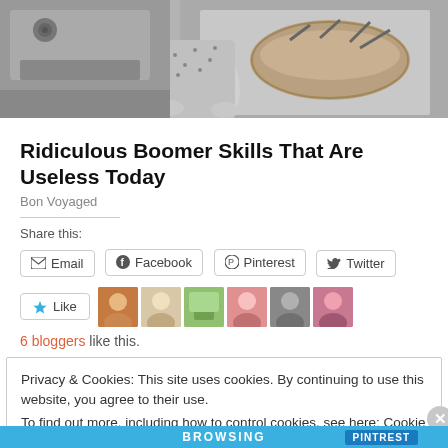[Figure (photo): Black and white photo of a woman in a kitchen with a basket, partial view]
Ridiculous Boomer Skills That Are Useless Today
Bon Voyaged
Share this:
Email  Facebook  Pinterest  Twitter
Like
6 bloggers like this.
Privacy & Cookies: This site uses cookies. By continuing to use this website, you agree to their use.
To find out more, including how to control cookies, see here: Cookie Policy
Close and accept